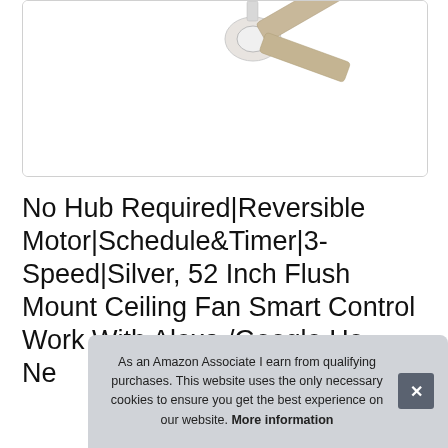[Figure (photo): Partial view of a ceiling fan product image (blades and motor visible) inside a white rounded-corner product card]
No Hub Required|Reversible Motor|Schedule&Timer|3-Speed|Silver, 52 Inch Flush Mount Ceiling Fan Smart Control Work With Alexa /Google Ho... Ne...
As an Amazon Associate I earn from qualifying purchases. This website uses the only necessary cookies to ensure you get the best experience on our website. More information